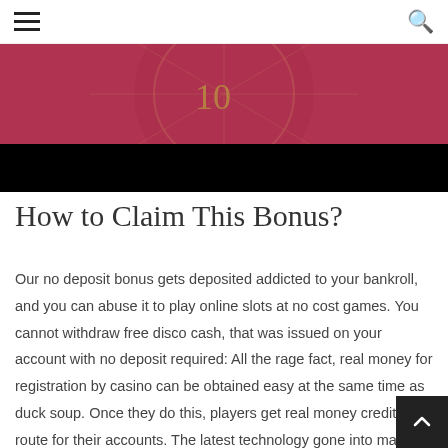≡  🔍
[Figure (photo): Close-up photo of a pink roulette wheel showing the number 10, with a black redacted/censored bar overlaid at the bottom of the image.]
How to Claim This Bonus?
Our no deposit bonus gets deposited addicted to your bankroll, and you can abuse it to play online slots at no cost games. You cannot withdraw free disco cash, that was issued on your account with no deposit required: All the rage fact, real money for registration by casino can be obtained easy at the same time as duck soup. Once they do this, players get real money credited en route for their accounts. The latest technology gone into making betsupremacys platform a high end, has